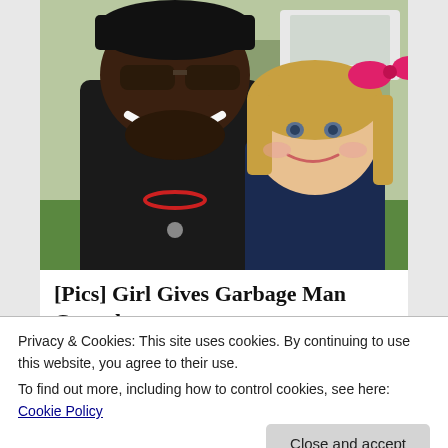[Figure (photo): A smiling man wearing a black cap and sunglasses with a beard, dressed in dark clothing with a red necklace, posing cheek-to-cheek with a young blonde girl who has a pink bow in her hair. They appear to be outdoors with a white vehicle and green grass/trees visible in the background.]
[Pics] Girl Gives Garbage Man Cupcake Every Week Until Dad Follows Him...
Privacy & Cookies: This site uses cookies. By continuing to use this website, you agree to their use.
To find out more, including how to control cookies, see here: Cookie Policy
Close and accept
[Figure (photo): Partial view of another photo at the bottom of the page showing a person with blonde hair.]